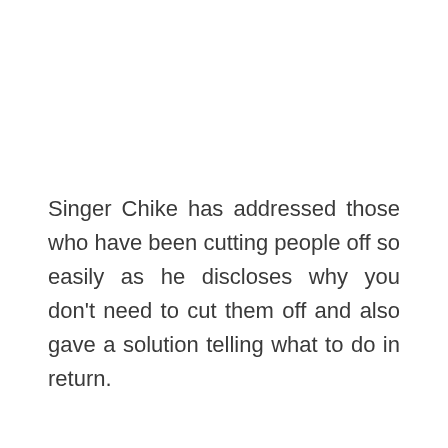Singer Chike has addressed those who have been cutting people off so easily as he discloses why you don't need to cut them off and also gave a solution telling what to do in return.